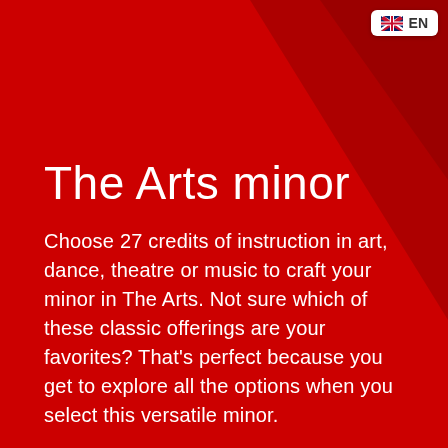[Figure (infographic): Red background with darker red geometric triangle overlay in upper right area, and a language selector badge (EN with US flag) in the top right corner.]
The Arts minor
Choose 27 credits of instruction in art, dance, theatre or music to craft your minor in The Arts. Not sure which of these classic offerings are your favorites? That's perfect because you get to explore all the options when you select this versatile minor.